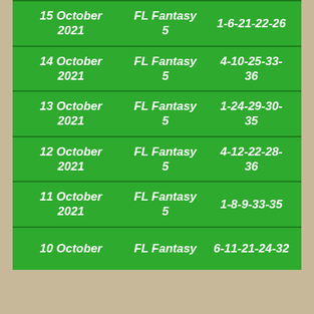| Date | Game | Numbers |
| --- | --- | --- |
| 15 October 2021 | FL Fantasy 5 | 1-6-21-22-26 |
| 14 October 2021 | FL Fantasy 5 | 4-10-25-33-36 |
| 13 October 2021 | FL Fantasy 5 | 1-24-29-30-35 |
| 12 October 2021 | FL Fantasy 5 | 4-12-22-28-36 |
| 11 October 2021 | FL Fantasy 5 | 1-8-9-33-35 |
| 10 October 2021 | FL Fantasy 5 | 6-11-21-24-32 |
Search for
1.  BUSINESS ENTITY SEARCH
2.  FIND BUSINESS BY NAME